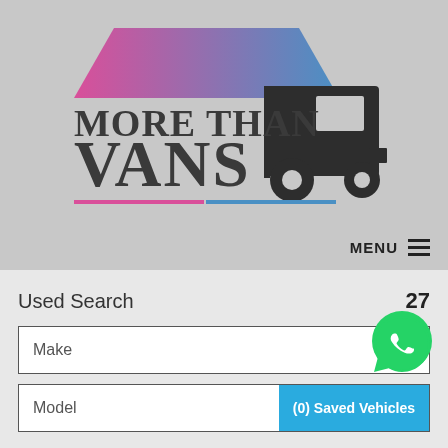[Figure (logo): More Than Vans logo with a van/truck silhouette and a gradient roof shape in pink-to-blue, text says MORE THAN VANS, with pink and blue underline]
MENU
Used Search
27
Make
[Figure (logo): WhatsApp green circle icon with phone handset]
Model
(0) Saved Vehicles